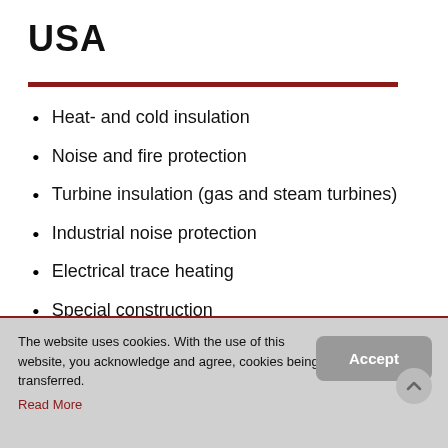USA
Heat- and cold insulation
Noise and fire protection
Turbine insulation (gas and steam turbines)
Industrial noise protection
Electrical trace heating
Special construction
Mattress insulation
The website uses cookies. With the use of this website, you acknowledge and agree, cookies being transferred. Read More